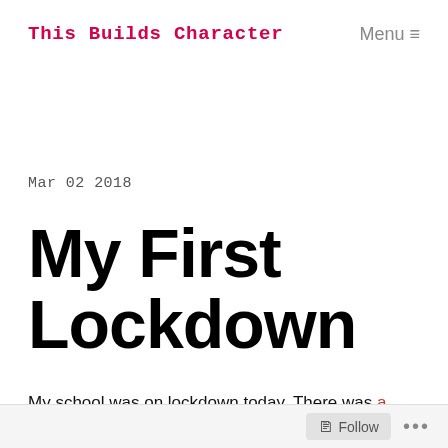This Builds Character   Menu ≡
Mar 02 2018
My First Lockdown
My school was on lockdown today. There was a
Follow ...